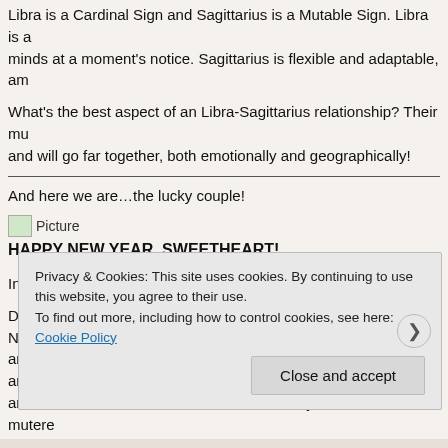Libra is a Cardinal Sign and Sagittarius is a Mutable Sign. Libra is a... minds at a moment's notice. Sagittarius is flexible and adaptable, am...
What's the best aspect of an Libra-Sagittarius relationship? Their mu... and will go far together, both emotionally and geographically!
And here we are…the lucky couple!
[Figure (photo): Placeholder image labeled 'Picture']
HAPPY NEW YEAR, SWEETHEART!
In other news…
Did you stay up and party hearty and welcome in the New Year? Not... and smoke. Instead I watched part of an old John Travolta movie and... arrived when I heard a few fireworks set off by some locals. I mutere...
Privacy & Cookies: This site uses cookies. By continuing to use this website, you agree to their use. To find out more, including how to control cookies, see here: Cookie Policy